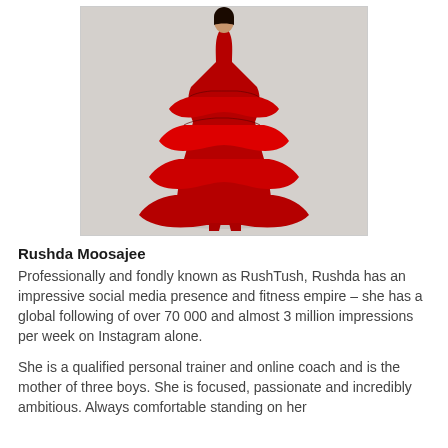[Figure (photo): A person wearing a dramatic red ruffled tiered gown, standing against a light grey/white background. The dress is floor-length with multiple layers of red fabric ruffles.]
Rushda Moosajee
Professionally and fondly known as RushTush, Rushda has an impressive social media presence and fitness empire – she has a global following of over 70 000 and almost 3 million impressions per week on Instagram alone.
She is a qualified personal trainer and online coach and is the mother of three boys. She is focused, passionate and incredibly ambitious. Always comfortable standing on her